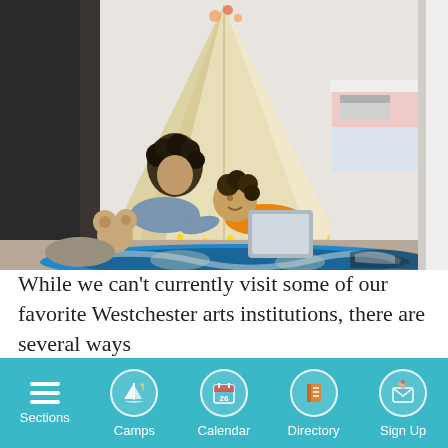[Figure (photo): A woman with curly hair and a child in an orange shirt lie on a colorful rug inside a tent/teepee made of white fabric, looking at a tablet, with string lights and a bed in the background.]
While we can't currently visit some of our favorite Westchester arts institutions, there are several ways
Sections | Camps | Calendar | Directory | Sign Up